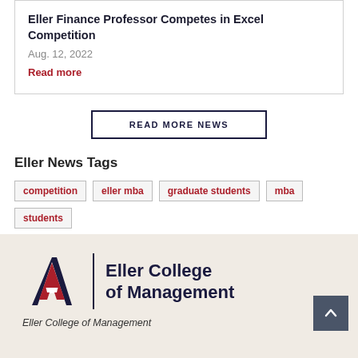Eller Finance Professor Competes in Excel Competition
Aug. 12, 2022
Read more
READ MORE NEWS
Eller News Tags
competition
eller mba
graduate students
mba
students
[Figure (logo): University of Arizona Eller College of Management logo with block letter A and text]
Eller College of Management